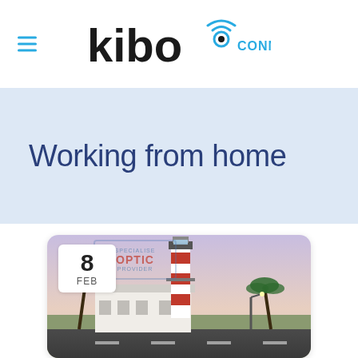kibo CONNECT
Working from home
[Figure (photo): A photo of a red and white striped lighthouse building with white walls, palm trees, a road in the foreground, and a pastel sky. A date badge showing '8 FEB' and a stamp reading 'SPECIALISE... OPTIC PROVIDER' overlay the top-left corner of the image.]